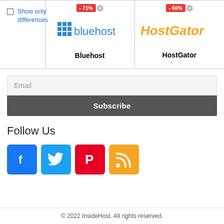|  | Bluehost (-71%) | HostGator (-66%) |
| --- | --- | --- |
| ☐ Show only differences | Bluehost | HostGator |
Email
Subscribe
Follow Us
[Figure (other): Social media icons: Facebook, Twitter, Pinterest, RSS]
© 2022 InsideHost. All rights reserved.